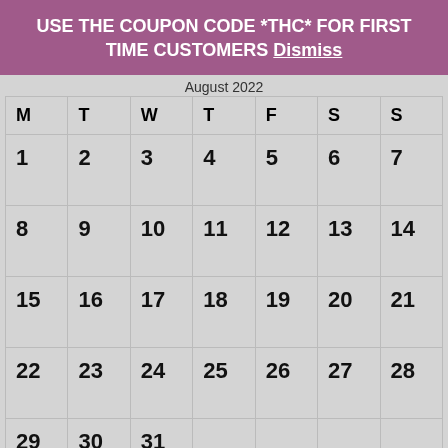USE THE COUPON CODE *THC* FOR FIRST TIME CUSTOMERS Dismiss
| M | T | W | T | F | S | S |
| --- | --- | --- | --- | --- | --- | --- |
| 1 | 2 | 3 | 4 | 5 | 6 | 7 |
| 8 | 9 | 10 | 11 | 12 | 13 | 14 |
| 15 | 16 | 17 | 18 | 19 | 20 | 21 |
| 22 | 23 | 24 | 25 | 26 | 27 | 28 |
| 29 | 30 | 31 |  |  |  |  |
« Sep